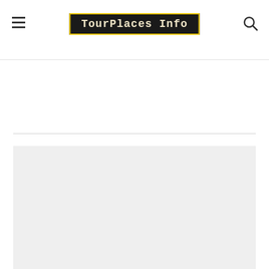TourPlaces Info
READ MORE »
[Figure (illustration): Gray placeholder image block in the lower half of the page]